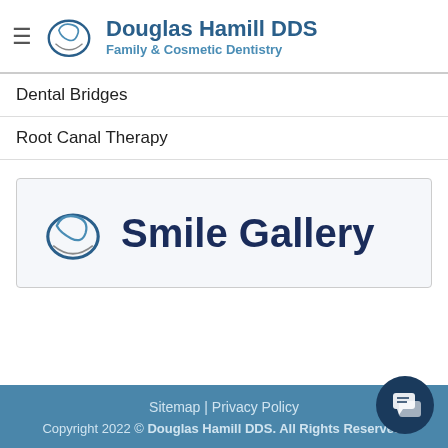[Figure (logo): Douglas Hamill DDS logo with tooth icon, 'Douglas Hamill DDS' in bold blue, 'Family & Cosmetic Dentistry' in lighter blue subtitle]
Dental Bridges
Root Canal Therapy
[Figure (logo): Smile Gallery banner with tooth/smile icon and bold dark navy text 'Smile Gallery' on light gray background]
Sitemap | Privacy Policy
Copyright 2022 © Douglas Hamill DDS. All Rights Reserved.